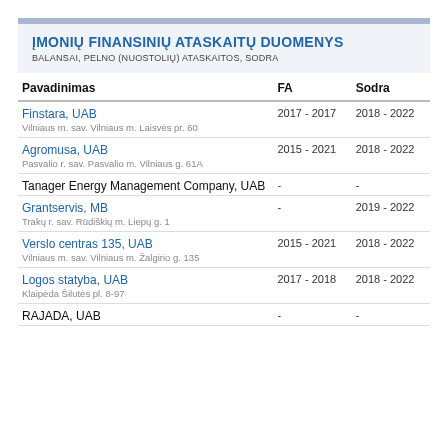ĮMONIŲ FINANSINIŲ ATASKAITŲ DUOMENYS
BALANSAI, PELNO (NUOSTOLIŲ) ATASKAITOS, SODRA
| Pavadinimas | FA | Sodra |
| --- | --- | --- |
| Finstara, UAB
Vilniaus m. sav. Vilniaus m. Laisvės pr. 60 | 2017 - 2017 | 2018 - 2022 |
| Agromusa, UAB
Pasvalio r. sav. Pasvalio m. Vilniaus g. 61A | 2015 - 2021 | 2018 - 2022 |
| Tanager Energy Management Company, UAB | - | - |
| Grantservis, MB
Trakų r. sav. Rūdiškių m. Liepų g. 1 | - | 2019 - 2022 |
| Verslo centras 135, UAB
Vilniaus m. sav. Vilniaus m. Žalgirio g. 135 | 2015 - 2021 | 2018 - 2022 |
| Logos statyba, UAB
Klaipėda Šilutės pl. 8-97 | 2017 - 2018 | 2018 - 2022 |
| RAJADA, UAB | - | - |